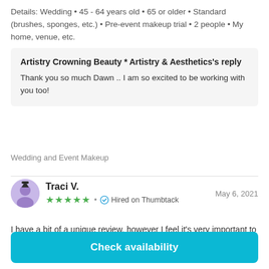Details: Wedding • 45 - 64 years old • 65 or older • Standard (brushes, sponges, etc.) • Pre-event makeup trial • 2 people • My home, venue, etc.
Artistry Crowning Beauty * Artistry & Aesthetics's reply
Thank you so much Dawn .. I am so excited to be working with you too!
Wedding and Event Makeup
Traci V.
May 6, 2021
★★★★★ • Hired on Thumbtack
I have a bit of a unique review, however I feel it's very important to share.
Check availability